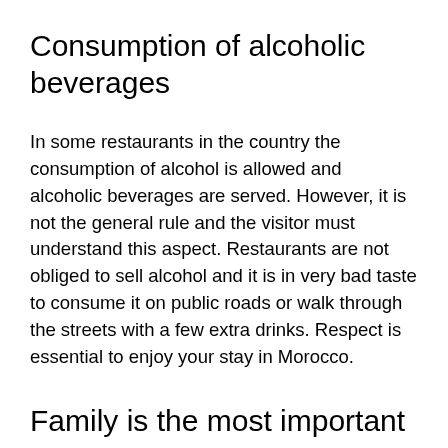Consumption of alcoholic beverages
In some restaurants in the country the consumption of alcohol is allowed and alcoholic beverages are served. However, it is not the general rule and the visitor must understand this aspect. Restaurants are not obliged to sell alcohol and it is in very bad taste to consume it on public roads or walk through the streets with a few extra drinks. Respect is essential to enjoy your stay in Morocco.
Family is the most important